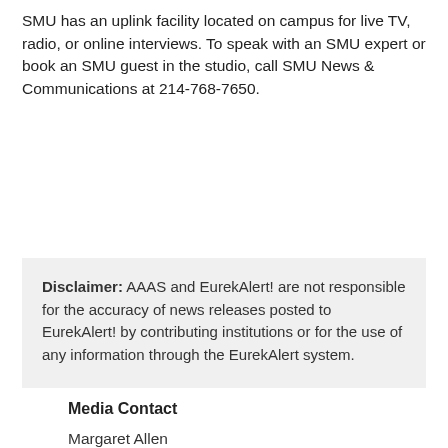SMU has an uplink facility located on campus for live TV, radio, or online interviews. To speak with an SMU expert or book an SMU guest in the studio, call SMU News & Communications at 214-768-7650.
Disclaimer: AAAS and EurekAlert! are not responsible for the accuracy of news releases posted to EurekAlert! by contributing institutions or for the use of any information through the EurekAlert system.
[Figure (infographic): Social sharing icons: Facebook (blue), Twitter (light blue), Mix (orange-red), Reddit (orange-red), Plus/more (orange-red). Print and Email App icons on the right.]
Media Contact
Margaret Allen